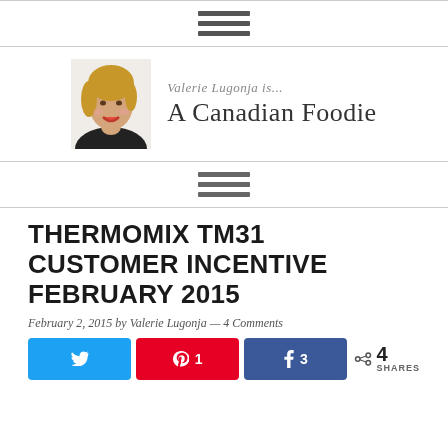[Figure (logo): Hamburger menu icon (three horizontal lines) at top]
[Figure (logo): Blog logo: portrait photo of Valerie Lugonja with text 'Valerie Lugonja is... A Canadian Foodie']
[Figure (logo): Hamburger menu icon (three horizontal lines) below logo]
THERMOMIX TM31 CUSTOMER INCENTIVE FEBRUARY 2015
February 2, 2015 by Valerie Lugonja — 4 Comments